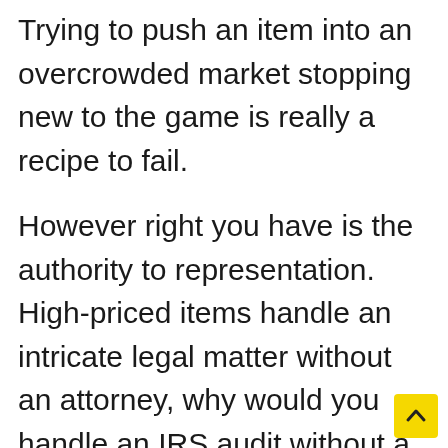Trying to push an item into an overcrowded market stopping new to the game is really a recipe to fail.
However right you have is the authority to representation. High-priced items handle an intricate legal matter without an attorney, why would you handle an IRS audit without a tax skilled professional? Even if you decide to handle the audit yourself, at any time you can tell the examiner that market .